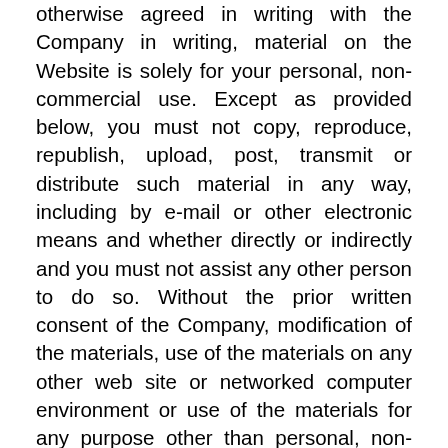otherwise agreed in writing with the Company in writing, material on the Website is solely for your personal, non-commercial use. Except as provided below, you must not copy, reproduce, republish, upload, post, transmit or distribute such material in any way, including by e-mail or other electronic means and whether directly or indirectly and you must not assist any other person to do so. Without the prior written consent of the Company, modification of the materials, use of the materials on any other web site or networked computer environment or use of the materials for any purpose other than personal, non-commercial use is a violation of the copyrights, trademarks and other proprietary rights, and is prohibited. Any use for which you receive any remuneration, whether in